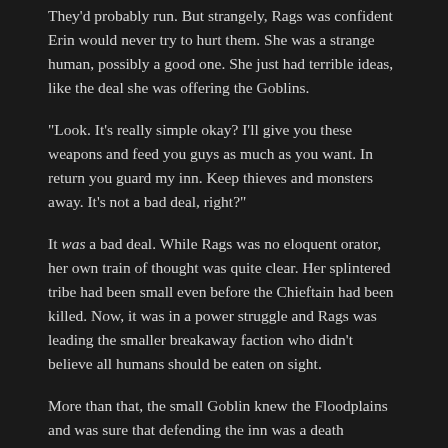They'd probably run. But strangely, Rags was confident Erin would never try to hurt them. She was a strange human, possibly a good one. She just had terrible ideas, like the deal she was offering the Goblins.
“Look. It’s really simple okay? I’ll give you these weapons and feed you guys as much as you want. In return you guard my inn. Keep thieves and monsters away. It’s not a bad deal, right?”
It was a bad deal. While Rags was no eloquent orator, her own train of thought was quite clear. Her splintered tribe had been small even before the Chieftain had been killed. Now, it was in a power struggle and Rags was leading the smaller breakaway faction who didn’t believe all humans should be eaten on sight.
More than that, the small Goblin knew the Floodplains and was sure that defending the inn was a death sentence. What the strange human girl was offering was a terrible deal. The magnificent weapons tempted Rags greatly, but even they couldn’t outweigh the massive disadvantages of